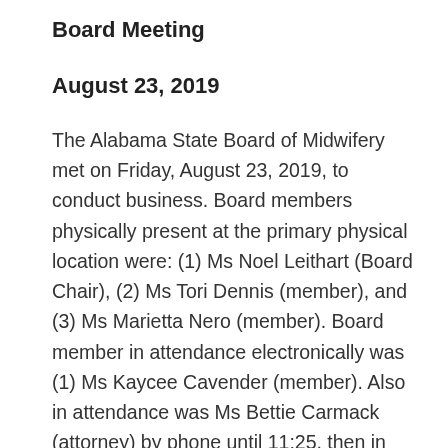Board Meeting
August 23, 2019
The Alabama State Board of Midwifery met on Friday, August 23, 2019, to conduct business. Board members physically present at the primary physical location were: (1) Ms Noel Leithart (Board Chair), (2) Ms Tori Dennis (member), and (3) Ms Marietta Nero (member). Board member in attendance electronically was (1) Ms Kaycee Cavender (member). Also in attendance was Ms Bettie Carmack (attorney) by phone until 11:25, then in person. Absent Board members were: (1) Ms Stephanie Armistead (member), (2) Ms Stacey